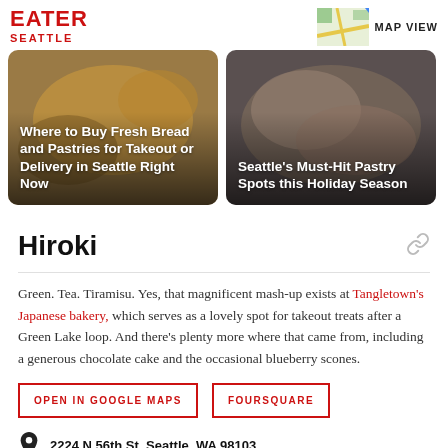EATER SEATTLE
[Figure (photo): Card image: Where to Buy Fresh Bread and Pastries for Takeout or Delivery in Seattle Right Now]
[Figure (photo): Card image: Seattle's Must-Hit Pastry Spots this Holiday Season]
Hiroki
Green. Tea. Tiramisu. Yes, that magnificent mash-up exists at Tangletown's Japanese bakery, which serves as a lovely spot for takeout treats after a Green Lake loop. And there's plenty more where that came from, including a generous chocolate cake and the occasional blueberry scones.
OPEN IN GOOGLE MAPS
FOURSQUARE
2224 N 56th St, Seattle, WA 98103